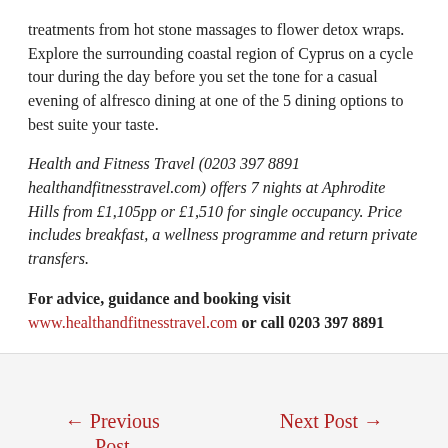treatments from hot stone massages to flower detox wraps. Explore the surrounding coastal region of Cyprus on a cycle tour during the day before you set the tone for a casual evening of alfresco dining at one of the 5 dining options to best suite your taste.
Health and Fitness Travel (0203 397 8891 healthandfitnesstravel.com) offers 7 nights at Aphrodite Hills from £1,105pp or £1,510 for single occupancy. Price includes breakfast, a wellness programme and return private transfers.
For advice, guidance and booking visit www.healthandfitnesstravel.com or call 0203 397 8891
← Previous Post    Next Post →